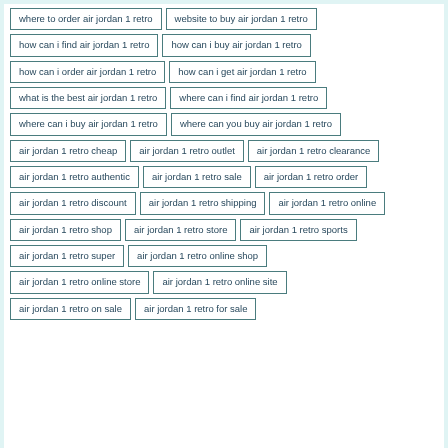[Figure (infographic): Keyword tag cloud showing search phrases related to 'air jordan 1 retro' arranged in rows of bordered tag boxes on a teal/white background.]
where to order air jordan 1 retro
website to buy air jordan 1 retro
how can i find air jordan 1 retro
how can i buy air jordan 1 retro
how can i order air jordan 1 retro
how can i get air jordan 1 retro
what is the best air jordan 1 retro
where can i find air jordan 1 retro
where can i buy air jordan 1 retro
where can you buy air jordan 1 retro
air jordan 1 retro cheap
air jordan 1 retro outlet
air jordan 1 retro clearance
air jordan 1 retro authentic
air jordan 1 retro sale
air jordan 1 retro order
air jordan 1 retro discount
air jordan 1 retro shipping
air jordan 1 retro online
air jordan 1 retro shop
air jordan 1 retro store
air jordan 1 retro sports
air jordan 1 retro super
air jordan 1 retro online shop
air jordan 1 retro online store
air jordan 1 retro online site
air jordan 1 retro on sale
air jordan 1 retro for sale